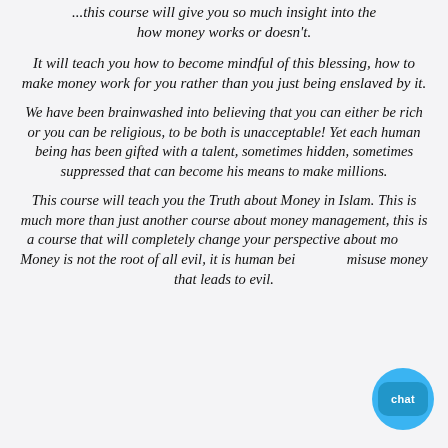...this course will give you so much insight into the how money works or doesn't.
It will teach you how to become mindful of this blessing, how to make money work for you rather than you just being enslaved by it.
We have been brainwashed into believing that you can either be rich or you can be religious, to be both is unacceptable! Yet each human being has been gifted with a talent, sometimes hidden, sometimes suppressed that can become his means to make millions.
This course will teach you the Truth about Money in Islam. This is much more than just another course about money management, this is a course that will completely change your perspective about money. Money is not the root of all evil, it is human beings who misuse money that leads to evil.